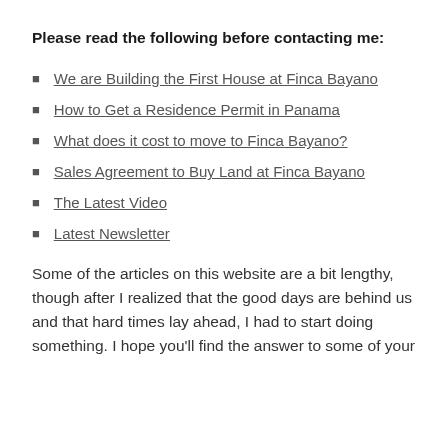Please read the following before contacting me:
We are Building the First House at Finca Bayano
How to Get a Residence Permit in Panama
What does it cost to move to Finca Bayano?
Sales Agreement to Buy Land at Finca Bayano
The Latest Video
Latest Newsletter
Some of the articles on this website are a bit lengthy, though after I realized that the good days are behind us and that hard times lay ahead, I had to start doing something. I hope you'll find the answer to some of your